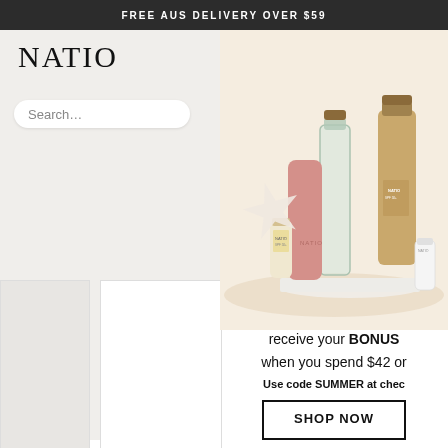FREE AUS DELIVERY OVER $59
[Figure (logo): NATIO brand logo in serif font]
Search...
[Figure (photo): Natio beauty/sunscreen products with drink bottles, starfish, on sandy surface with warm peachy background]
receive your BONUS when you spend $42 or
Use code SUMMER at chec
SHOP NOW
drink bottle colour selected at r
*T&Cs apply